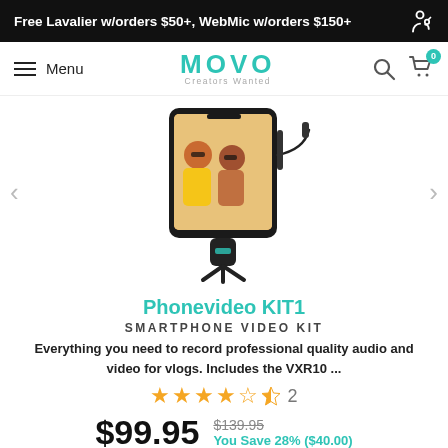Free Lavalier w/orders $50+, WebMic w/orders $150+
[Figure (screenshot): MOVO brand navigation bar with hamburger menu, MOVO Creators Wanted logo, search icon, and cart icon with 0 badge]
[Figure (photo): Phonevideo KIT1 product image showing a smartphone holder with a phone displaying two women taking a selfie, mounted on a grip with lavalier microphone attached]
Phonevideo KIT1
SMARTPHONE VIDEO KIT
Everything you need to record professional quality audio and video for vlogs. Includes the VXR10 ...
★★★★½ 2
$99.95  $139.95  You Save 28% ($40.00)